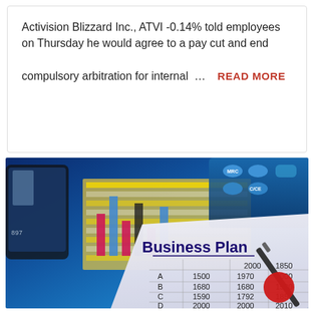Activision Blizzard Inc., ATVI -0.14% told employees on Thursday he would agree to a pay cut and end compulsory arbitration for internal … READ MORE
[Figure (photo): A business plan document showing a table with rows A, B, C, D and numerical data (1500, 2000, 1850, 1680, 1970, 2000, 1590, 1680, 1520, 2000, 1792, 1850, 1671, 2000, 2010, 2100), with a calculator, pen, bar chart, and a red circle, all presented in blue-toned lighting.]